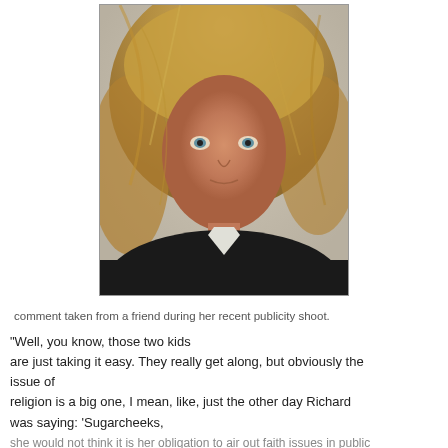[Figure (photo): Mugshot-style photo of a blonde woman with disheveled hair, looking directly at the camera, wearing a dark jacket, against a neutral background.]
comment taken from a friend during her recent publicity shoot.
“Well, you know, those two kids are just taking it easy. They really get along, but obviously the issue of religion is a big one, I mean, like, just the other day Richard was saying: ‘Sugarcheeks, she would not think it is her obligation to air out faith issues in public